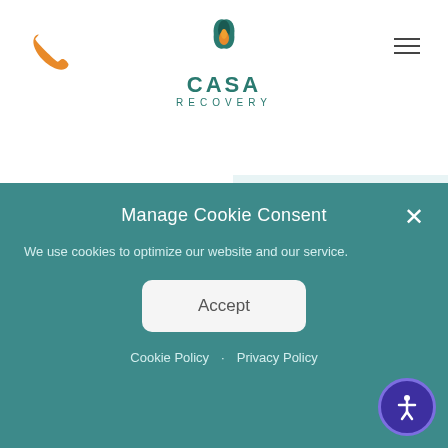[Figure (logo): CASA Recovery logo with teal lotus/drop icon above text reading CASA RECOVERY]
withdrawal. Massage the stress, which is a significa home after treatment. The manipulation also improv blood pressure.
regardless of your situation. To get you personalized recommendations I need to know a little more info. Are you a new or existing patient?
Manage Cookie Consent
We use cookies to optimize our website and our service.
Accept
Cookie Policy · Privacy Policy